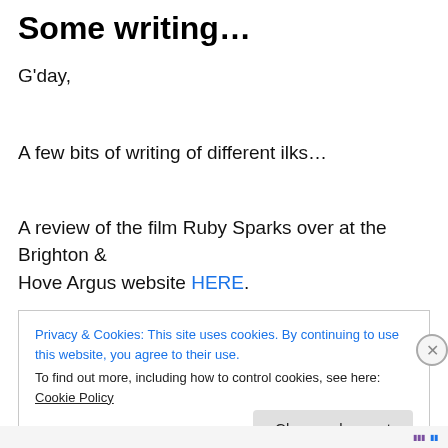Some writing…
G'day,
A few bits of writing of different ilks…
A review of the film Ruby Sparks over at the Brighton & Hove Argus website HERE.
Privacy & Cookies: This site uses cookies. By continuing to use this website, you agree to their use.
To find out more, including how to control cookies, see here: Cookie Policy
Close and accept